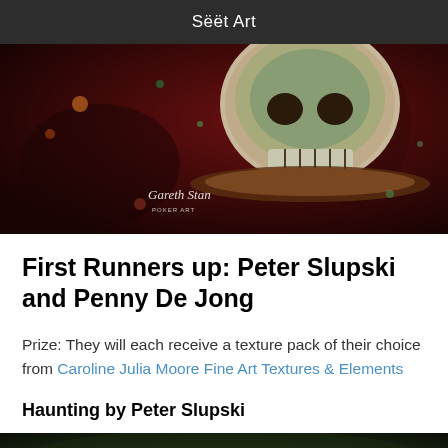Sëëit Art
[Figure (photo): Dark, moody digital artwork showing a skull with colorful decorative elements against a dark red/maroon background. Artist signature 'Gareth Stan Poker Art' visible in lower left.]
First Runners up: Peter Slupski and Penny De Jong
Prize: They will each receive a texture pack of their choice from Caroline Julia Moore Fine Art Textures & Elements
Haunting by Peter Slupski
[Figure (photo): Partial view of another dark artwork, cropped at bottom of page.]